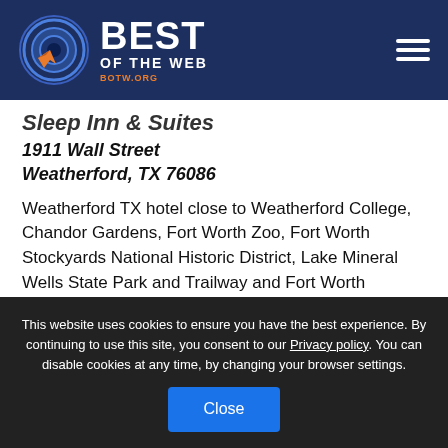[Figure (logo): Best of the Web logo with circular target icon and 'BEST OF THE WEB' text in white on dark blue header. BOTW.ORG label in orange. Hamburger menu icon on right.]
Sleep Inn & Suites
1911 Wall Street
Weatherford, TX 76086
Weatherford TX hotel close to Weatherford College, Chandor Gardens, Fort Worth Zoo, Fort Worth Stockyards National Historic District, Lake Mineral Wells State Park and Trailway and Fort Worth Botanical Garden.
View Listing
This website uses cookies to ensure you have the best experience. By continuing to use this site, you consent to our Privacy policy. You can disable cookies at any time, by changing your browser settings.
Close